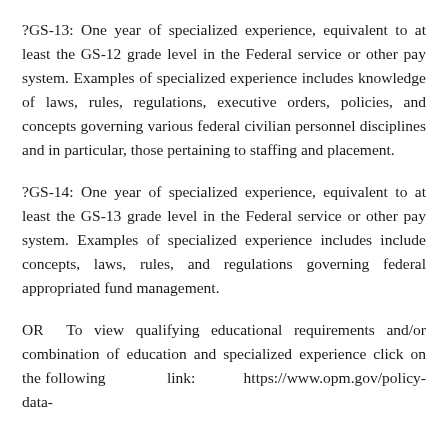?GS-13: One year of specialized experience, equivalent to at least the GS-12 grade level in the Federal service or other pay system. Examples of specialized experience includes knowledge of laws, rules, regulations, executive orders, policies, and concepts governing various federal civilian personnel disciplines and in particular, those pertaining to staffing and placement.
?GS-14: One year of specialized experience, equivalent to at least the GS-13 grade level in the Federal service or other pay system. Examples of specialized experience includes include concepts, laws, rules, and regulations governing federal appropriated fund management.
OR To view qualifying educational requirements and/or combination of education and specialized experience click on the following link: https://www.opm.gov/policy-data-